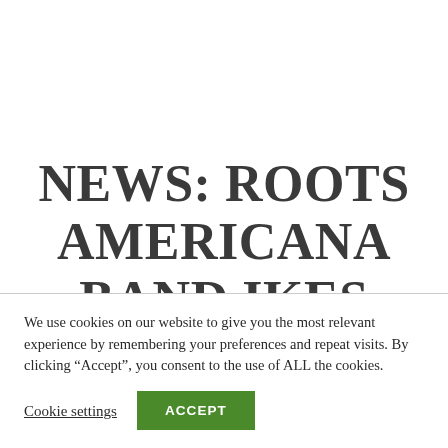NEWS: ROOTS AMERICANA BAND IKES CREEK
We use cookies on our website to give you the most relevant experience by remembering your preferences and repeat visits. By clicking “Accept”, you consent to the use of ALL the cookies.
Cookie settings
ACCEPT